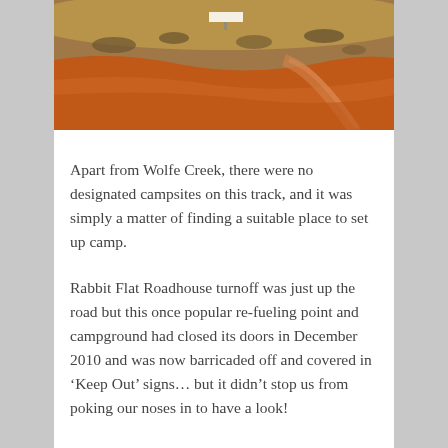[Figure (photo): Aerial or elevated view of red outback dirt landscape with sparse vegetation, a curved red dirt road, and a small white sign in the distance.]
Apart from Wolfe Creek, there were no designated campsites on this track, and it was simply a matter of finding a suitable place to set up camp.
Rabbit Flat Roadhouse turnoff was just up the road but this once popular re-fueling point and campground had closed its doors in December 2010 and was now barricaded off and covered in ‘Keep Out’ signs… but it didn’t stop us from poking our noses in to have a look!